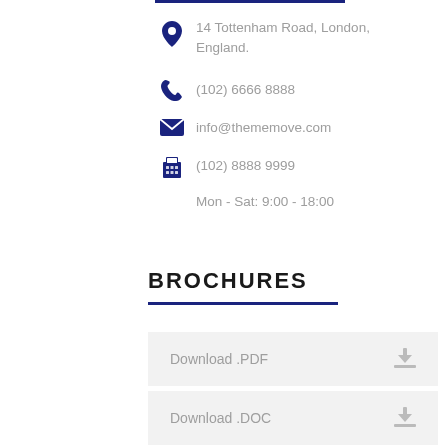14 Tottenham Road, London, England.
(102) 6666 8888
info@thememove.com
(102) 8888 9999
Mon - Sat: 9:00 - 18:00
BROCHURES
Download .PDF
Download .DOC